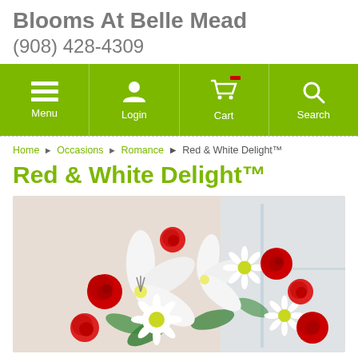Blooms At Belle Mead
(908) 428-4309
[Figure (screenshot): Green navigation bar with Menu, Login, Cart, and Search icons in white on lime green background]
Home › Occasions › Romance › Red & White Delight™
Red & White Delight™
[Figure (photo): Photo of Red & White Delight flower bouquet with white lilies, white daisies, red roses, and red carnations]